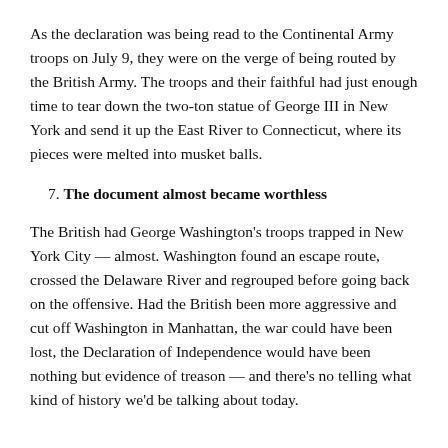As the declaration was being read to the Continental Army troops on July 9, they were on the verge of being routed by the British Army. The troops and their faithful had just enough time to tear down the two-ton statue of George III in New York and send it up the East River to Connecticut, where its pieces were melted into musket balls.
7. The document almost became worthless
The British had George Washington's troops trapped in New York City — almost. Washington found an escape route, crossed the Delaware River and regrouped before going back on the offensive. Had the British been more aggressive and cut off Washington in Manhattan, the war could have been lost, the Declaration of Independence would have been nothing but evidence of treason — and there's no telling what kind of history we'd be talking about today.